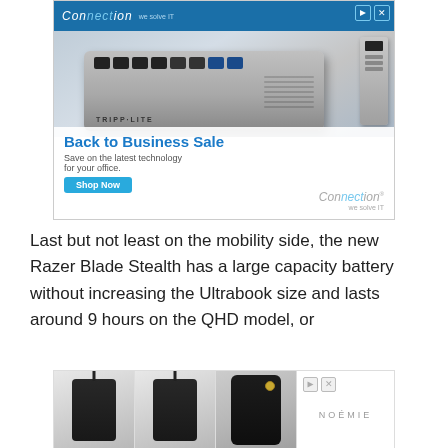[Figure (photo): Advertisement from Connection showing a Tripp-Lite UPS device with text 'Back to Business Sale – Save on the latest technology for your office. Shop Now' and the Connection 'we solve IT' logo]
Last but not least on the mobility side, the new Razer Blade Stealth has a large capacity battery without increasing the Ultrabook size and lasts around 9 hours on the QHD model, or
[Figure (photo): Advertisement showing three black phone cases/wallets with lanyards, and the NOÉMIE brand logo on the right side]